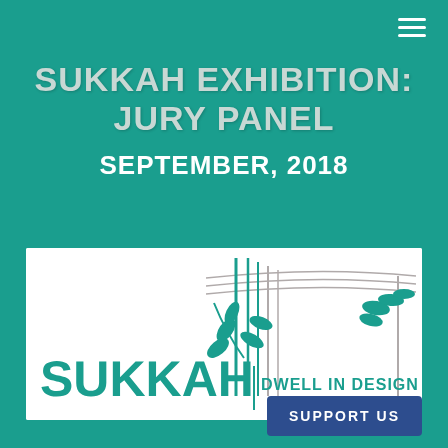SUKKAH EXHIBITION: JURY PANEL
SEPTEMBER, 2018
[Figure (logo): Sukkah Dwell in Design logo on white background with teal plant/branch illustration and hand-drawn sukkah frame lines]
SUPPORT US